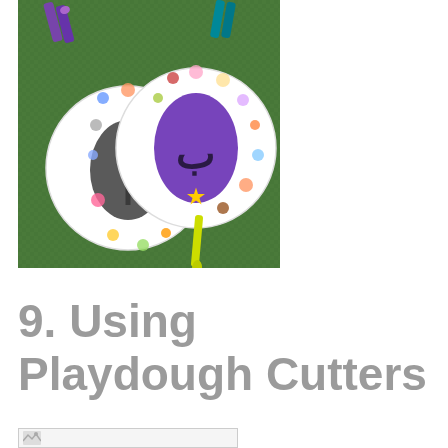[Figure (photo): Two circular educational activity cards on a green fluffy surface. The cards feature colorful illustrated images of objects around the edges and a large colored shape in the center — one card has a dark gray oval, the other has a purple oval with an Arabic letter. Colorful clothespins and a yellow plastic knife/spatula are clipped to the cards.]
9. Using Playdough Cutters
[Figure (photo): Partially visible image at the bottom of the page, cut off.]